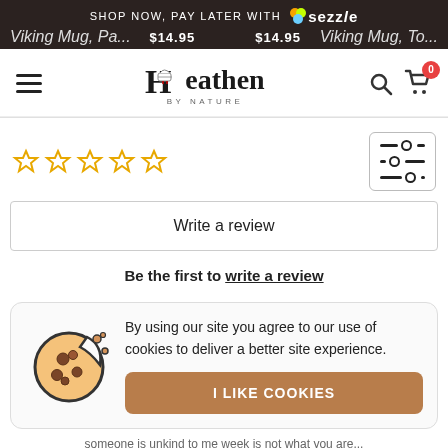$14.95  SHOP NOW, PAY LATER WITH sezzle  $14.95  Viking Mug, Pa...  Viking Mug, To...
[Figure (logo): Heathen by Nature logo with navigation hamburger menu, search icon, and cart icon with badge 0]
[Figure (other): Five empty/outline star rating icons in gold]
[Figure (other): Filter/sort icon button]
Write a review
Be the first to write a review
[Figure (illustration): Cookie icon - a round cookie with a bite taken out, showing chocolate chip spots and crumbs]
By using our site you agree to our use of cookies to deliver a better site experience.
I LIKE COOKIES
someone is unkind to me week is not what you are...